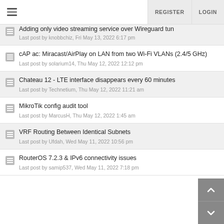REGISTER  LOGIN
Adding only video streaming service over Wireguard tun
Last post by knobbchiz, Fri May 13, 2022 6:17 pm
cAP ac: Miracast/AirPlay on LAN from two Wi-Fi VLANs (2.4/5 GHz)
Last post by solarium14, Thu May 12, 2022 12:12 pm
Chateau 12 - LTE interface disappears every 60 minutes
Last post by Technetium, Thu May 12, 2022 11:21 am
MikroTik config audit tool
Last post by MarcusH, Thu May 12, 2022 1:45 am
VRF Routing Between Identical Subnets
Last post by Ufdah, Wed May 11, 2022 10:56 pm
RouterOS 7.2.3 & IPv6 connectivity issues
Last post by samip537, Wed May 11, 2022 7:18 pm